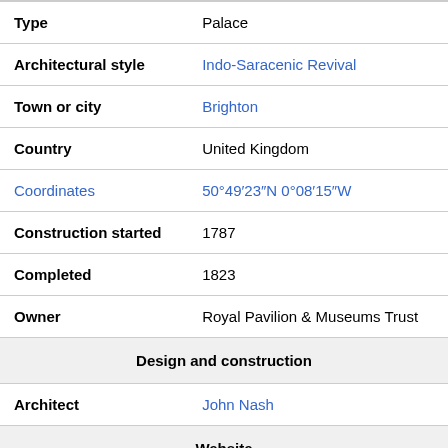| Field | Value |
| --- | --- |
| Type | Palace |
| Architectural style | Indo-Saracenic Revival |
| Town or city | Brighton |
| Country | United Kingdom |
| Coordinates | 50°49′23″N 0°08′15″W |
| Construction started | 1787 |
| Completed | 1823 |
| Owner | Royal Pavilion & Museums Trust |
| Design and construction |  |
| Architect | John Nash |
| Website |  |